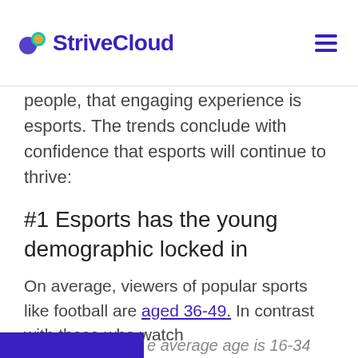StriveCloud
people, that engaging experience is esports. The trends conclude with confidence that esports will continue to thrive:
#1 Esports has the young demographic locked in
On average, viewers of popular sports like football are aged 36-49. In contrast with those who watch
e average age is 16-34